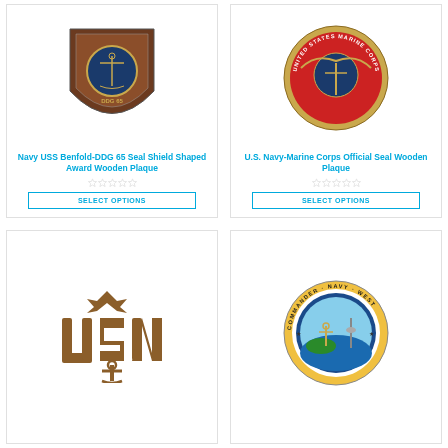[Figure (photo): Navy USS Benfold-DDG 65 Seal Shield Shaped Award Wooden Plaque product photo]
Navy USS Benfold-DDG 65 Seal Shield Shaped Award Wooden Plaque
[Figure (photo): U.S. Navy-Marine Corps Official Seal Wooden Plaque product photo]
U.S. Navy-Marine Corps Official Seal Wooden Plaque
[Figure (photo): USN wooden carved letters insignia product photo]
[Figure (photo): Commander Navy West seal wooden plaque product photo]